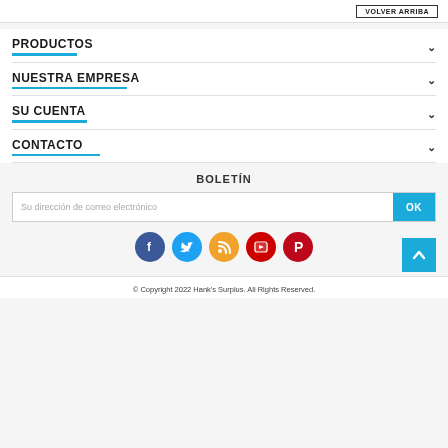VOLVER ARRIBA
PRODUCTOS
NUESTRA EMPRESA
SU CUENTA
CONTACTO
BOLETÍN
Su dirección de correo electrónico
OK
[Figure (infographic): Social media icons: Facebook (dark blue), Twitter (light blue), RSS feed (orange/yellow), YouTube (red), Pinterest (red)]
© Copyright 2022 Hank's Surplus. All Rights Reserved.